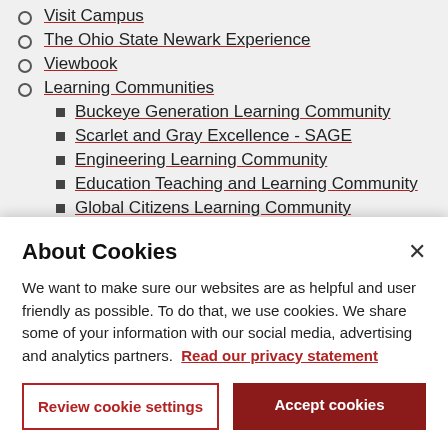Visit Campus
The Ohio State Newark Experience
Viewbook
Learning Communities
Buckeye Generation Learning Community
Scarlet and Gray Excellence - SAGE
Engineering Learning Community
Education Teaching and Learning Community
Global Citizens Learning Community
Ohio Means Science Scholars Program
About Cookies
We want to make sure our websites are as helpful and user friendly as possible. To do that, we use cookies. We share some of your information with our social media, advertising and analytics partners. Read our privacy statement
Review cookie settings
Accept cookies